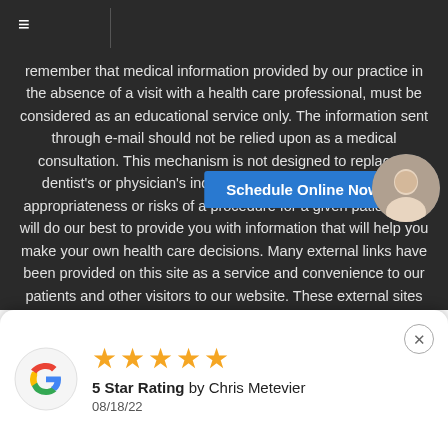≡
remember that medical information provided by our practice in the absence of a visit with a health care professional, must be considered as an educational service only. The information sent through e-mail should not be relied upon as a medical consultation. This mechanism is not designed to replace a dentist's or physician's independent judgement about the appropriateness or risks of a procedure for a given patient. We will do our best to provide you with information that will help you make your own health care decisions. Many external links have been provided on this site as a service and convenience to our patients and other visitors to our website. These external sites are created and maintained by other public and private organizations. We do not control or guarantee the accuracy, relevance, timeliness, or completeness of this outside information. If you are interested in finding out more, please contact our team of dental experts today for a personal consultation. This website is not r
[Figure (other): Schedule Online Now button and profile photo of a person]
[Figure (other): Google review card showing 5 star rating by Chris Metevier on 08/18/22 with Google G logo]